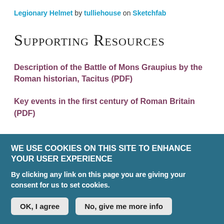Legionary Helmet by tulliehouse on Sketchfab
Supporting Resources
Description of the Battle of Mons Graupius by the Roman historian, Tacitus (PDF)
Key events in the first century of Roman Britain (PDF)
Propaganda and Spin:
WE USE COOKIES ON THIS SITE TO ENHANCE YOUR USER EXPERIENCE
By clicking any link on this page you are giving your consent for us to set cookies.
OK, I agree
No, give me more info